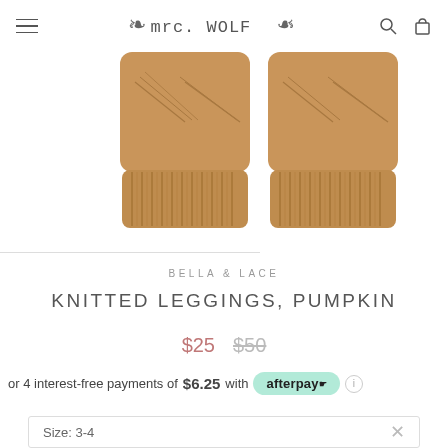mr. WOLF — navigation header with hamburger menu, logo, search and cart icons
[Figure (photo): Two knitted leggings legs in pumpkin/tan color showing ribbed cuffs at the bottom, displayed on white background]
BELLA & LACE
KNITTED LEGGINGS, PUMPKIN
$25   $50
or 4 interest-free payments of $6.25 with afterpay
Size: 3-4